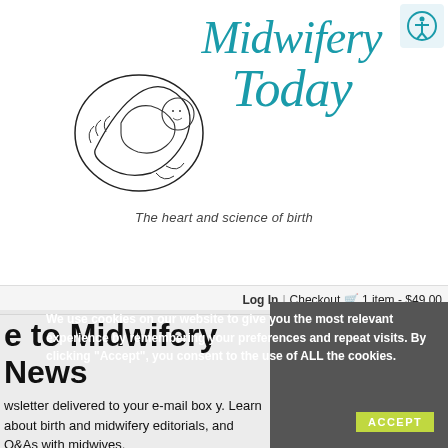[Figure (logo): Midwifery Today logo: script text 'Midwifery Today' in teal/dark cyan with line drawing of infant in hands, tagline 'The heart and science of birth']
Log In | Checkout 🛒 1 item - $49.00
[Figure (infographic): Social media icons: Instagram, Pinterest, Twitter/X, YouTube on dark bar]
e to Midwifery News
We use cookies on our website to give you the most relevant experience by remembering your preferences and repeat visits. By clicking "Accept", you consent to the use of ALL the cookies.
wsletter delivered to your e-mail box y. Learn about birth and midwifery editorials, and Q&As with midwives. on our online magazine, books and birth-related products.